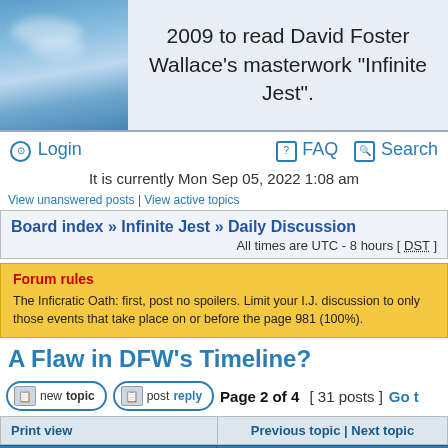[Figure (photo): Blue sky with clouds image in top-left banner area]
2009 to read David Foster Wallace's masterwork "Infinite Jest".
Login   FAQ   Search
It is currently Mon Sep 05, 2022 1:08 am
View unanswered posts | View active topics
Board index » Infinite Jest » Daily Discussion
All times are UTC - 8 hours [ DST ]
Forum rules
The Inficratic Oath: first, post no spoilers. Limit your I.J. discussion to only those events that take place on or before the page 981 (100%).
A Flaw in DFW's Timeline?
new topic   post reply   Page 2 of 4  [ 31 posts ]  Go t
Print view   Previous topic | Next topic
| Author | Message |
| --- | --- |